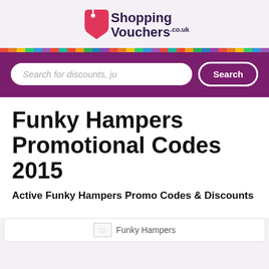[Figure (logo): ShoppingVouchers.co.uk logo with pink price tag icon and dark purple text]
[Figure (screenshot): Purple search bar with text input 'Search for discounts, ju' and white Search button]
Funky Hampers Promotional Codes 2015
Active Funky Hampers Promo Codes & Discounts
[Figure (screenshot): Partial card showing Funky Hampers logo image at bottom of page]